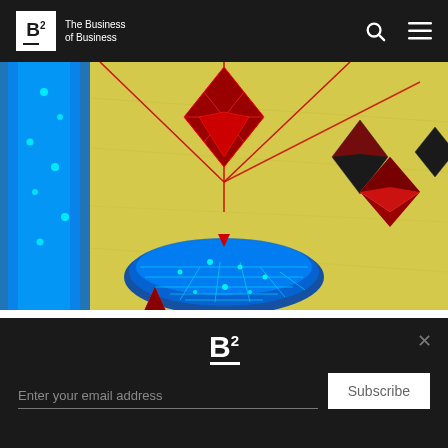The Business of Business
[Figure (illustration): Digital blockchain/cryptocurrency themed illustration with glowing blue geometric network structure, red diamond/Ethereum logo shapes, and arrows on a yellow crumpled paper background]
No one knows who’s on the hook if a DAO gets sued
Believers say DAOs are the future of work, but it’s not clear who
[Figure (logo): The Business of Business B2 logo in white on dark background]
Enter your email address
Subscribe